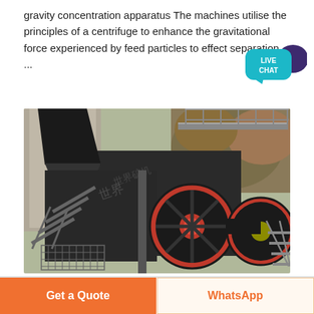gravity concentration apparatus The machines utilise the principles of a centrifuge to enhance the gravitational force experienced by feed particles to effect separation ...
[Figure (photo): Industrial heavy machinery — a large jaw crusher or similar ore processing machine with two prominent red-rimmed flywheels, mounted on a concrete structure with metal staircases and railings, set against a hillside with autumn foliage.]
Get a Quote
WhatsApp